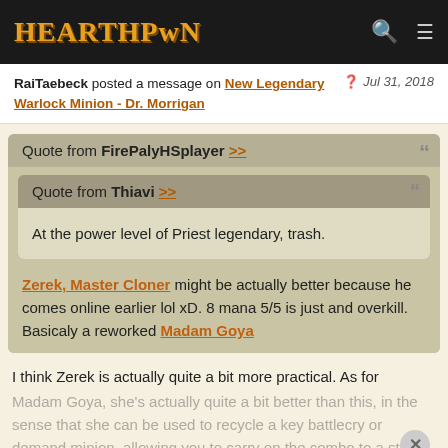HEARTHPWN
RaiTaebeck posted a message on New Legendary Warlock Minion - Dr. Morrigan   Jul 31, 2018
Quote from FirePalyHSplayer >>
Quote from Thiavi >>
At the power level of Priest legendary, trash.
Zerek, Master Cloner might be actually better because he comes online earlier lol xD. 8 mana 5/5 is just and overkill. Basicaly a reworked Madam Goya
I think Zerek is actually quite a bit more practical. As for
Madam Goya, she's actually quite a bit better than this, in the sense that she can be used to recycle a key battlecry or demand minion, allowing you to carry on the combo to a stall